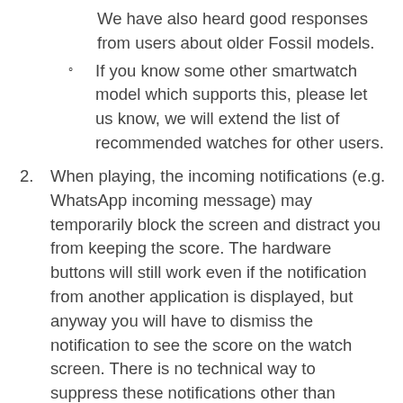We have also heard good responses from users about older Fossil models.
If you know some other smartwatch model which supports this, please let us know, we will extend the list of recommended watches for other users.
2. When playing, the incoming notifications (e.g. WhatsApp incoming message) may temporarily block the screen and distract you from keeping the score. The hardware buttons will still work even if the notification from another application is displayed, but anyway you will have to dismiss the notification to see the score on the watch screen. There is no technical way to suppress these notifications other than manually blocking them for the time of the match from the Wear OS app on the phone:
Open the Wear OS app on the phone your